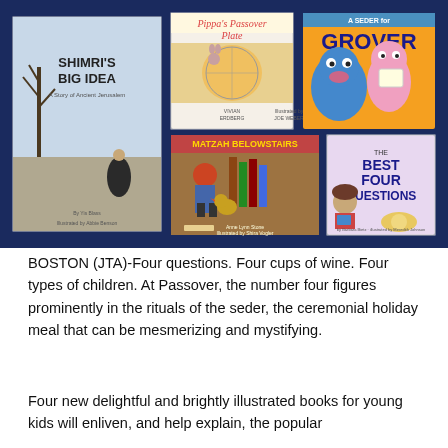[Figure (illustration): Collage of five Passover children's book covers on a dark navy background: 'Shimri's Big Idea: A Story of Ancient Jerusalem', 'Pippa's Passover Plate', 'A Seder for Grover', 'Matzah Belowstairs', and 'The Best Four Questions'.]
BOSTON (JTA)-Four questions. Four cups of wine. Four types of children. At Passover, the number four figures prominently in the rituals of the seder, the ceremonial holiday meal that can be mesmerizing and mystifying.
Four new delightful and brightly illustrated books for young kids will enliven, and help explain, the popular